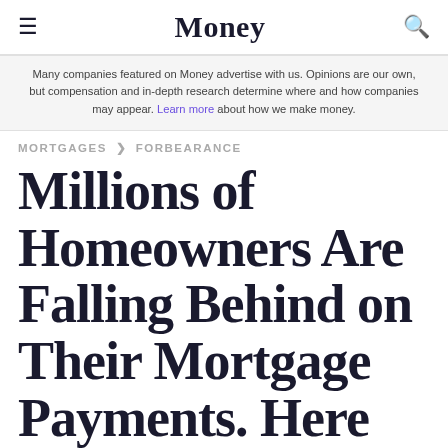Money
Many companies featured on Money advertise with us. Opinions are our own, but compensation and in-depth research determine where and how companies may appear. Learn more about how we make money.
MORTGAGES > FORBEARANCE
Millions of Homeowners Are Falling Behind on Their Mortgage Payments. Here Are Your Options if You're